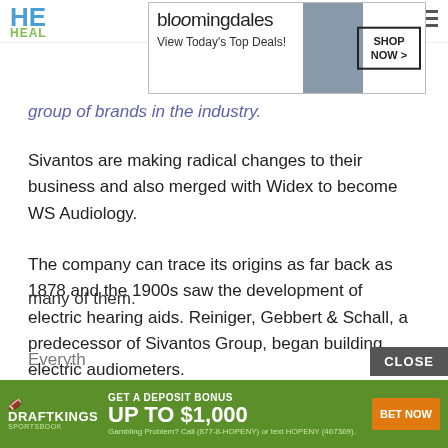HE... HEALTH...
[Figure (screenshot): Bloomingdale's advertisement banner: 'View Today's Top Deals! SHOP NOW >' with woman in hat image]
group of brands in the industry.
Sivantos are making radical changes to their business and also merged with Widex to become WS Audiology.
The company can trace its origins as far back as 1878 and the 1900s saw the development of electric hearing aids. Reiniger, Gebbert & Schall, a predecessor of Sivantos Group, began building electric audiometers.
Today, Sivantos employs over 6,000 people in more than 25 countries and its possible to buy their products in most parts of the world as they have market-leading positions in many of them.
Everyth...
[Figure (screenshot): DraftKings Sportsbook advertisement: 'GET A DEPOSIT BONUS UP TO $1,000 BET NOW — Gambling Problem? Call (877-8-HOPENY) or text HOPENY (467369).']